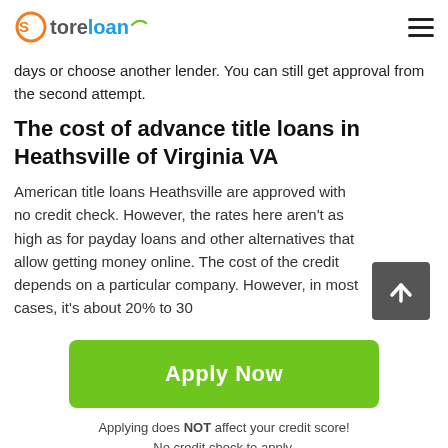Store loan
days or choose another lender. You can still get approval from the second attempt.
The cost of advance title loans in Heathsville of Virginia VA
American title loans Heathsville are approved with no credit check. However, the rates here aren't as high as for payday loans and other alternatives that allow getting money online. The cost of the credit depends on a particular company. However, in most cases, it's about 20% to 30%...
Apply Now
Applying does NOT affect your credit score!
No credit check to apply.